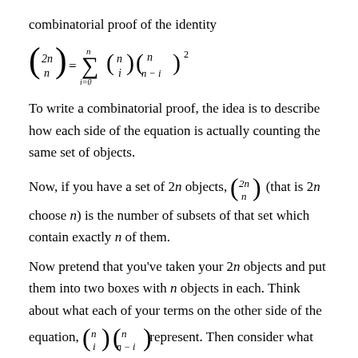combinatorial proof of the identity
To write a combinatorial proof, the idea is to describe how each side of the equation is actually counting the same set of objects.
Now, if you have a set of 2n objects, (2n choose n) (that is 2n choose n) is the number of subsets of that set which contain exactly n of them.
Now pretend that you've taken your 2n objects and put them into two boxes with n objects in each. Think about what each of your terms on the other side of the equation, (n choose i)(n choose n-i) represent. Then consider what